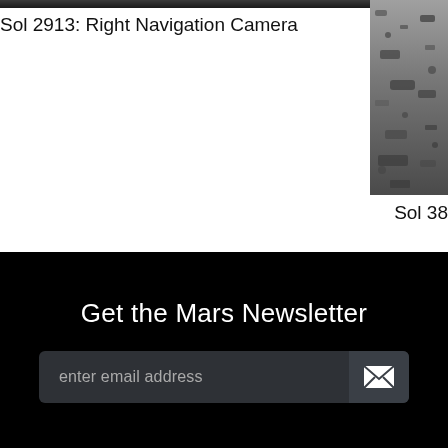[Figure (photo): Partial top strip of a black-and-white Mars surface image (Right Navigation Camera), showing the very bottom edge of the photo]
Sol 2913: Right Navigation Camera
[Figure (photo): Black-and-white Mars surface image showing rocky terrain, partially cropped on right side of the page]
Sol 38
Get the Mars Newsletter
enter email address